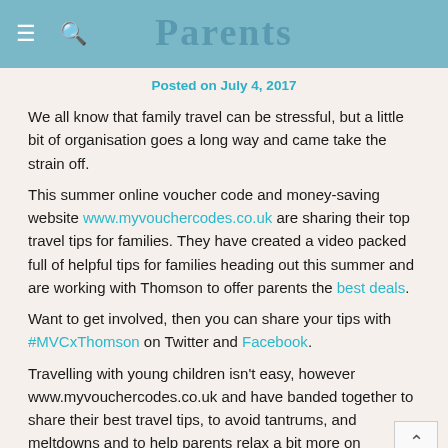Parents
Posted on July 4, 2017
We all know that family travel can be stressful, but a little bit of organisation goes a long way and came take the strain off.
This summer online voucher code and money-saving website www.myvouchercodes.co.uk are sharing their top travel tips for families. They have created a video packed full of helpful tips for families heading out this summer and are working with Thomson to offer parents the best deals.
Want to get involved, then you can share your tips with #MVCxThomson on Twitter and Facebook.
Travelling with young children isn't easy, however www.myvouchercodes.co.uk and have banded together to share their best travel tips, to avoid tantrums, and meltdowns and to help parents relax a bit more on